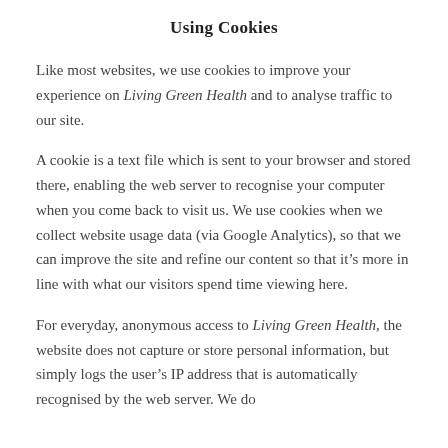Using Cookies
Like most websites, we use cookies to improve your experience on Living Green Health and to analyse traffic to our site.
A cookie is a text file which is sent to your browser and stored there, enabling the web server to recognise your computer when you come back to visit us. We use cookies when we collect website usage data (via Google Analytics), so that we can improve the site and refine our content so that it’s more in line with what our visitors spend time viewing here.
For everyday, anonymous access to Living Green Health, the website does not capture or store personal information, but simply logs the user’s IP address that is automatically recognised by the web server. We do